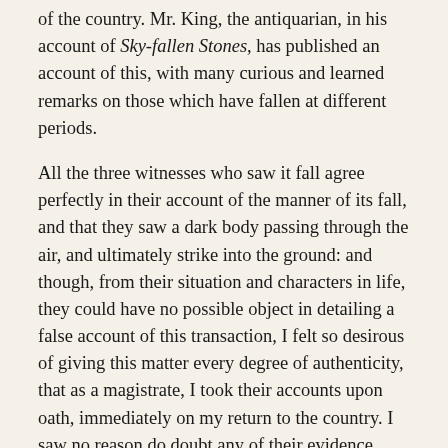of the country. Mr. King, the antiquarian, in his account of Sky-fallen Stones, has published an account of this, with many curious and learned remarks on those which have fallen at different periods.
All the three witnesses who saw it fall agree perfectly in their account of the manner of its fall, and that they saw a dark body passing through the air, and ultimately strike into the ground: and though, from their situation and characters in life, they could have no possible object in detailing a false account of this transaction, I felt so desirous of giving this matter every degree of authenticity, that as a magistrate, I took their accounts upon oath, immediately on my return to the country. I saw no reason do doubt any of their evidence, after the most minute investigation of it.
While Mr. Sowerby delivers in the work he is editing a very accurate delineation of the stone itself; at his